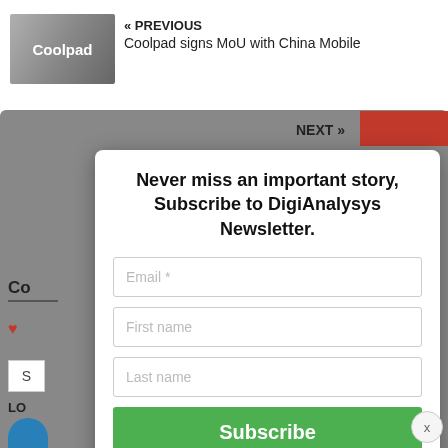[Figure (screenshot): Coolpad logo thumbnail image for previous article link]
« PREVIOUS
Coolpad signs MoU with China Mobile
[Figure (screenshot): Gray overlay background with NEXT navigation bar and orange accent, partially visible behind modal popup]
[Figure (screenshot): Newsletter subscription modal overlay with heading, email/first name/last name input fields, and Subscribe button]
Never miss an important story, Subscribe to DigiAnalysys Newsletter.
Email *
First name
Last name
Subscribe